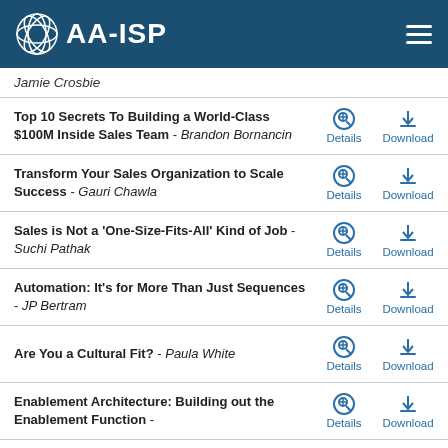AA-ISP
Jamie Crosbie
Top 10 Secrets To Building a World-Class $100M Inside Sales Team - Brandon Bornancin
Transform Your Sales Organization to Scale Success - Gauri Chawla
Sales is Not a 'One-Size-Fits-All' Kind of Job - Suchi Pathak
Automation: It's for More Than Just Sequences - JP Bertram
Are You a Cultural Fit? - Paula White
Enablement Architecture: Building out the Enablement Function -